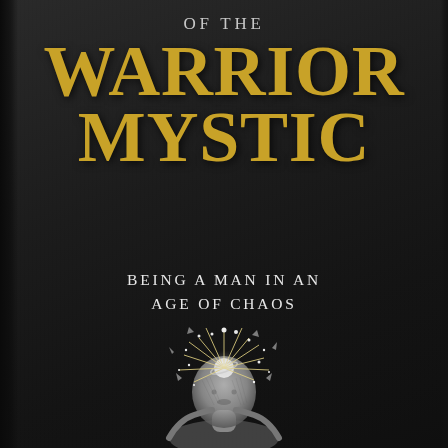OF THE
WARRIOR MYSTIC
BEING A MAN IN AN AGE OF CHAOS
[Figure (illustration): Black and white illustration of a classical male bust/statue with cosmic explosion emanating from the head area — stars, light rays, and a planet-like orb with rings burst outward from where the face would be, rendered in engraving style]